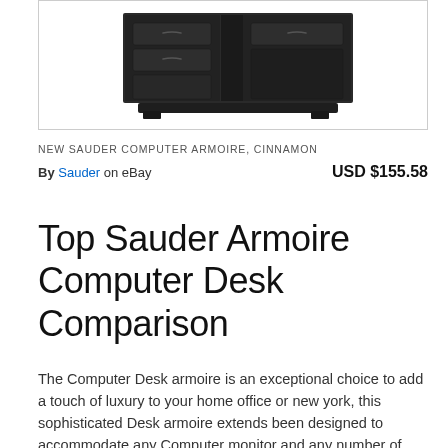[Figure (photo): Product photo of a dark brown/espresso Sauder Computer Armoire with drawers, shown from a three-quarter angle against a white background]
NEW SAUDER COMPUTER ARMOIRE, CINNAMON
By Sauder on eBay    USD $155.58
Top Sauder Armoire Computer Desk Comparison
The Computer Desk armoire is an exceptional choice to add a touch of luxury to your home office or new york, this sophisticated Desk armoire extends been designed to accommodate any Computer monitor and any number of Desk items. It grants two different types of